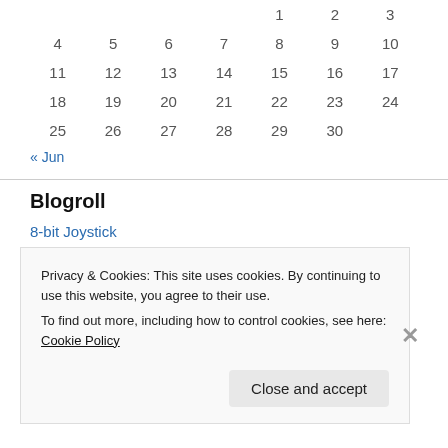|  |  |  |  | 1 | 2 | 3 |
| 4 | 5 | 6 | 7 | 8 | 9 | 10 |
| 11 | 12 | 13 | 14 | 15 | 16 | 17 |
| 18 | 19 | 20 | 21 | 22 | 23 | 24 |
| 25 | 26 | 27 | 28 | 29 | 30 |  |
« Jun
Blogroll
8-bit Joystick
Adentai
Area 5 (Co-op Show)
Privacy & Cookies: This site uses cookies. By continuing to use this website, you agree to their use.
To find out more, including how to control cookies, see here: Cookie Policy